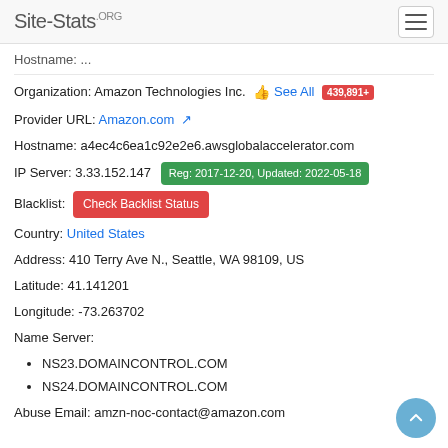Site-Stats.ORG
Hostname: ...
Organization: Amazon Technologies Inc. See All 439,891+
Provider URL: Amazon.com
Hostname: a4ec4c6ea1c92e2e6.awsglobalaccelerator.com
IP Server: 3.33.152.147 Reg: 2017-12-20, Updated: 2022-05-18
Blacklist: Check Backlist Status
Country: United States
Address: 410 Terry Ave N., Seattle, WA 98109, US
Latitude: 41.141201
Longitude: -73.263702
Name Server:
NS23.DOMAINCONTROL.COM
NS24.DOMAINCONTROL.COM
Abuse Email: amzn-noc-contact@amazon.com